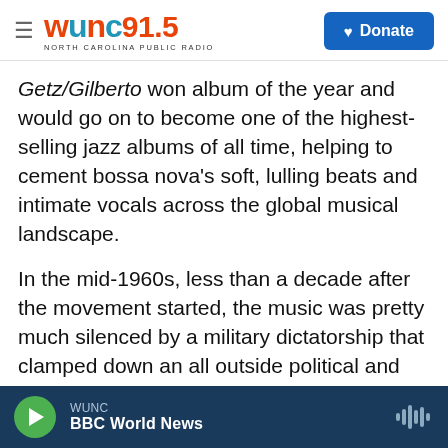WUNC 91.5 NORTH CAROLINA PUBLIC RADIO | Donate
Getz/Gilberto won album of the year and would go on to become one of the highest-selling jazz albums of all time, helping to cement bossa nova's soft, lulling beats and intimate vocals across the global musical landscape.
In the mid-1960s, less than a decade after the movement started, the music was pretty much silenced by a military dictatorship that clamped down an all outside political and cultural influences. Gilberto, who had moved to the United States after recording Getz/Gilberto, remained until 1980. Upon his return to Brazil he was heralded for his
WUNC | BBC World News